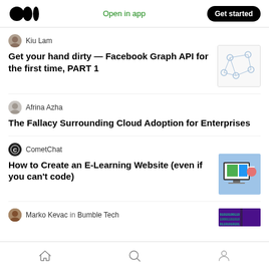Open in app  Get started
Kiu Lam
Get your hand dirty — Facebook Graph API for the first time, PART 1
[Figure (illustration): Thumbnail image showing a network/graph API diagram with nodes and connections on white background]
Afrina Azha
The Fallacy Surrounding Cloud Adoption for Enterprises
CometChat
How to Create an E-Learning Website (even if you can't code)
[Figure (illustration): Thumbnail image showing an e-learning website on a laptop screen with colorful UI elements]
Marko Kevac in Bumble Tech
[Figure (illustration): Thumbnail showing binary/code data pattern in purple and green]
Home  Search  Profile